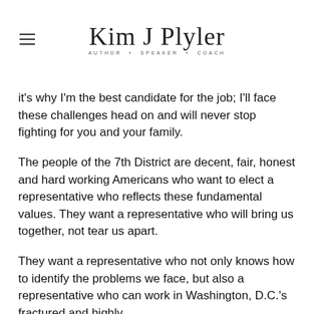Kim J Plyler — Author + Speaker + Coach
it's why I'm the best candidate for the job; I'll face these challenges head on and will never stop fighting for you and your family.
The people of the 7th District are decent, fair, honest and hard working Americans who want to elect a representative who reflects these fundamental values. They want a representative who will bring us together, not tear us apart.
They want a representative who not only knows how to identify the problems we face, but also a representative who can work in Washington, D.C.'s fractured and highly